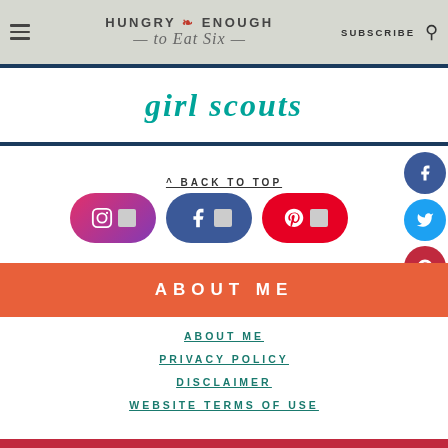Hungry Enough to Eat Six — SUBSCRIBE
[Figure (screenshot): Girl scouts banner/advertisement strip with teal italic text 'girl scouts' on white background with dark blue border]
^ BACK TO TOP
[Figure (infographic): Three social media buttons: Instagram (pink/magenta rounded pill), Facebook (blue rounded pill), Pinterest (red rounded pill), each with icon and small image thumbnail]
[Figure (infographic): Three floating circular social share buttons on right side: Facebook (dark blue), Twitter (light blue), Pinterest (dark red)]
ABOUT ME
ABOUT ME
PRIVACY POLICY
DISCLAIMER
WEBSITE TERMS OF USE